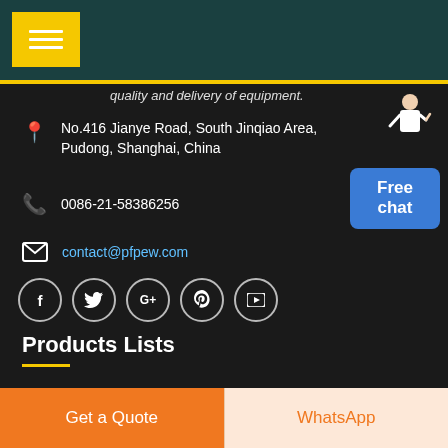quality and delivery of equipment.
No.416 Jianye Road, South Jinqiao Area, Pudong, Shanghai, China
0086-21-58386256
contact@pfpew.com
[Figure (infographic): Social media icons: Facebook, Twitter, Google+, Pinterest, YouTube in circular borders]
Products Lists
Get a Quote
WhatsApp